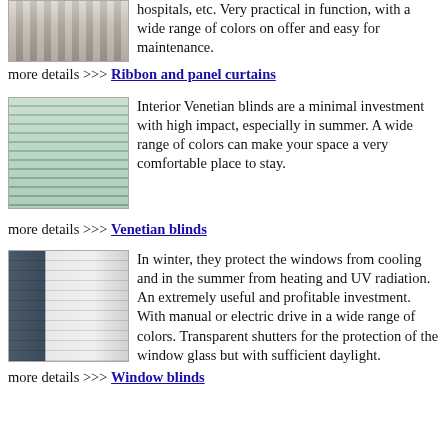[Figure (photo): Photo of ribbon/panel curtains with vertical slats and hanging chain]
hospitals, etc. Very practical in function, with a wide range of colors on offer and easy for maintenance.
more details >>> Ribbon and panel curtains
[Figure (photo): Photo of interior Venetian blinds with hand adjusting slats]
Interior Venetian blinds are a minimal investment with high impact, especially in summer. A wide range of colors can make your space a very comfortable place to stay.
more details >>> Venetian blinds
[Figure (photo): Photo of exterior window shutters/roller blinds on a house]
In winter, they protect the windows from cooling and in the summer from heating and UV radiation. An extremely useful and profitable investment. With manual or electric drive in a wide range of colors. Transparent shutters for the protection of the window glass but with sufficient daylight.
more details >>> Window blinds